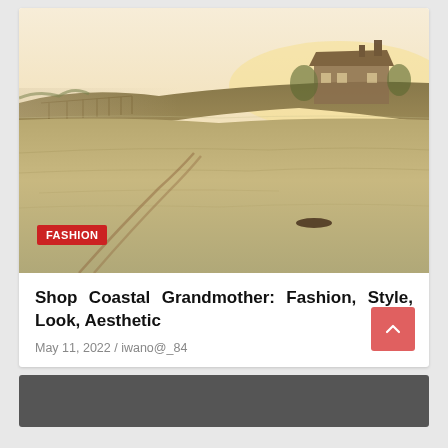[Figure (photo): Beach scene with sandy shore in foreground, a dune ridge with fence in the middle ground, and a large coastal house visible on the right horizon. Warm golden-hour lighting. A red 'FASHION' badge overlays the bottom-left corner.]
Shop Coastal Grandmother: Fashion, Style, Look, Aesthetic
May 11, 2022 / iwano@_84